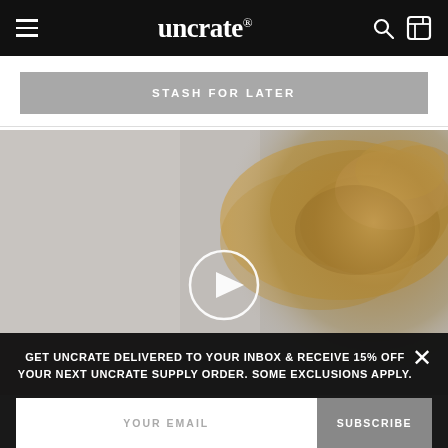uncrate
STASH FOR LATER
[Figure (screenshot): Blurred video thumbnail showing a hand holding a small brass object, with a circular white play button overlay in the center]
GET UNCRATE DELIVERED TO YOUR INBOX & RECEIVE 15% OFF YOUR NEXT UNCRATE SUPPLY ORDER. SOME EXCLUSIONS APPLY.
YOUR EMAIL | SUBSCRIBE